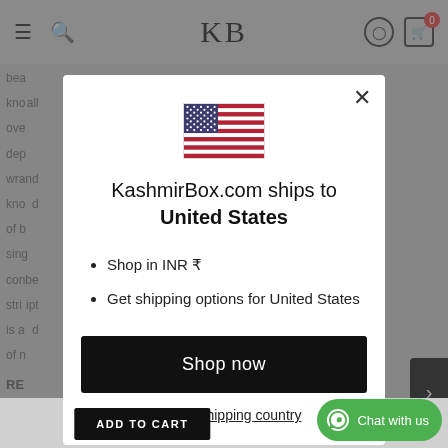[Figure (screenshot): Website modal dialog on KashmirBox.com showing a country/currency selector for United States with US flag, INR currency note, shipping options, a 'Shop now' button, and 'Change shipping country' link. Background shows partial page content and navigation bar with KB logo.]
KashmirBox.com ships to United States
Shop in INR ₹
Get shipping options for United States
Shop now
Change shipping country
Chat with us